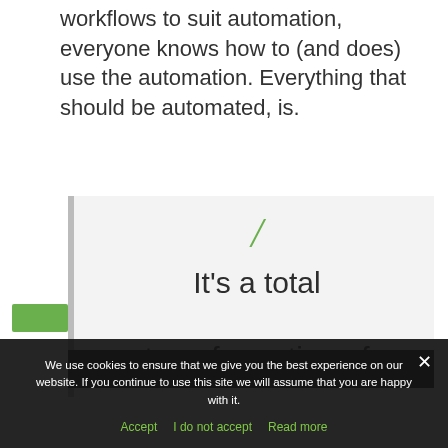workflows to suit automation, everyone knows how to (and does) use the automation. Everything that should be automated, is.
[Figure (other): Pull quote block with green quotation mark and text: 'It’s a total transformation of']
We use cookies to ensure that we give you the best experience on our website. If you continue to use this site we will assume that you are happy with it.
Accept  I do not accept  Read more